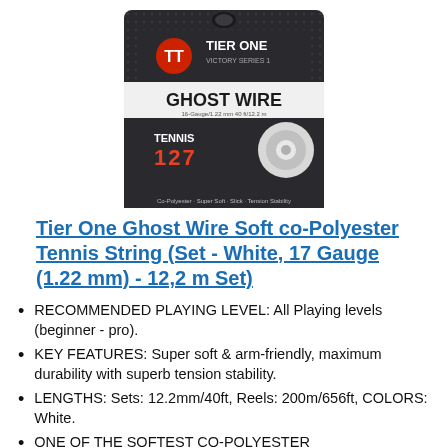[Figure (photo): Product packaging image for Tier One Ghost Wire tennis string. Dark charcoal/black package with 'TIER ONE VICTORY SERIES 1' logo at top, 'GHOST WIRE' in large text on white band, 'TENNIS 127' text, and a white spool of string visible. Text at bottom: 'Co-Polyester · Super Soft · Slick · Tension Stability'.]
Tier One Ghost Wire Soft co-Polyester Tennis String (Set - White, 17 Gauge (1.22 mm) - 12,2 m Set)
RECOMMENDED PLAYING LEVEL: All Playing levels (beginner - pro).
KEY FEATURES: Super soft & arm-friendly, maximum durability with superb tension stability.
LENGTHS: Sets: 12.2mm/40ft, Reels: 200m/656ft, COLORS: White.
ONE OF THE SOFTEST CO-POLYESTER